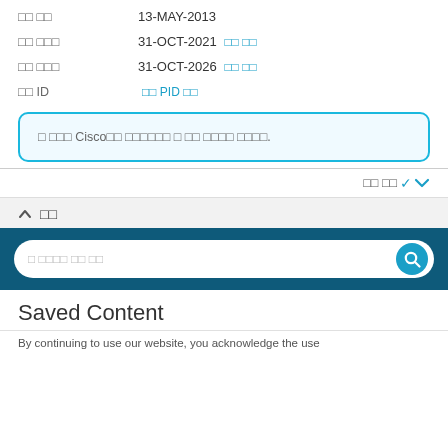□□ □□  13-MAY-2013
□□ □□□  31-OCT-2021 □□ □□
□□ □□□  31-OCT-2026 □□ □□
□□ ID  □□ PID □□
□ □□□ Cisco□□ □□□□□□ □ □□ □□□□ □□□□.
□□ □□ ∨
∧ □□
[Figure (screenshot): Search bar on dark teal background with magnifying glass icon]
Saved Content
By continuing to use our website, you acknowledge the use